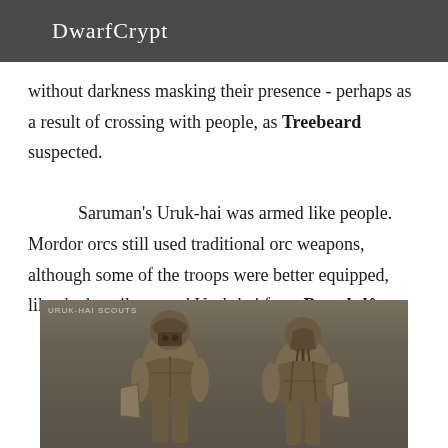DwarfCrypt
without darkness masking their presence - perhaps as a result of crossing with people, as Treebeard suspected.
        Saruman's Uruk-hai was armed like people. Mordor orcs still used traditional orc weapons, although some of the troops were better equipped, like the heavily-armed Uruk-hai from Barad-dûr ...
[Figure (photo): Image of two Uruk-hai scouts in armor, viewed from front and back. Label reads 'URUK-HAI SCOUTS'. Dark earthy tones, detailed armor and shield visible.]